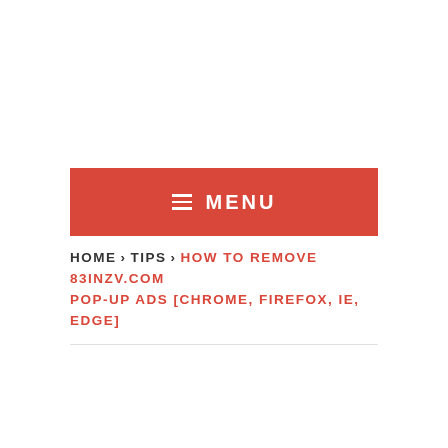≡ MENU
HOME › TIPS › HOW TO REMOVE 83INZV.COM POP-UP ADS [CHROME, FIREFOX, IE, EDGE]